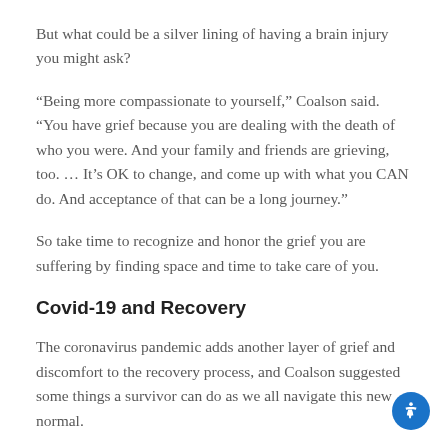But what could be a silver lining of having a brain injury you might ask?
“Being more compassionate to yourself,” Coalson said. “You have grief because you are dealing with the death of who you were. And your family and friends are grieving, too. … It’s OK to change, and come up with what you CAN do. And acceptance of that can be a long journey.”
So take time to recognize and honor the grief you are suffering by finding space and time to take care of you.
Covid‑19 and Recovery
The coronavirus pandemic adds another layer of grief and discomfort to the recovery process, and Coalson suggested some things a survivor can do as we all navigate this new normal.